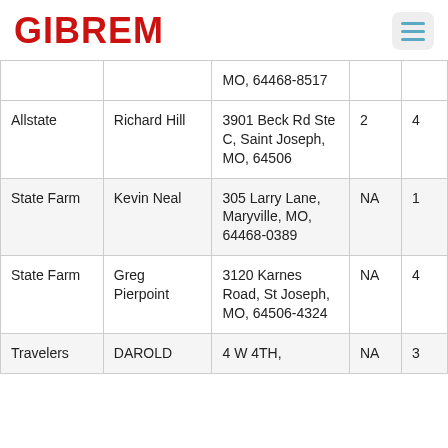GIBREM
| Company | Agent | Address | Col4 | Col5 |
| --- | --- | --- | --- | --- |
|  |  | MO, 64468-8517 |  |  |
| Allstate | Richard Hill | 3901 Beck Rd Ste C, Saint Joseph, MO, 64506 | 2 | 4 |
| State Farm | Kevin Neal | 305 Larry Lane, Maryville, MO, 64468-0389 | NA | 1 |
| State Farm | Greg Pierpoint | 3120 Karnes Road, St Joseph, MO, 64506-4324 | NA | 4 |
| Travelers | DAROLD | 4 W 4TH, | NA | 3 |